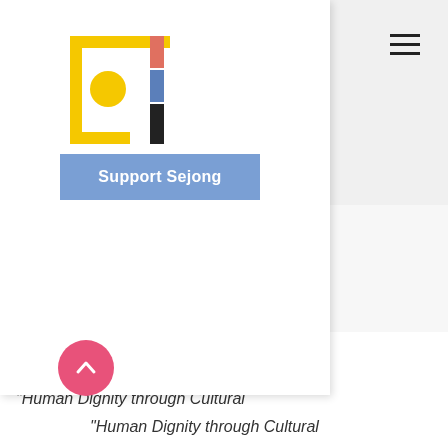[Figure (logo): Sejong Cultural Education logo with geometric symbol (yellow rectangle frame, yellow circle, colored vertical bars) and SEJONG wordmark below]
[Figure (other): Hamburger menu icon (three horizontal lines) in top right area]
Support Sejong
Events
Gallery
Contact
[Figure (other): Pink circular back-to-top button with upward chevron arrow]
Sejong Cultural Education, Inc.
“Human Dignity through Cultural